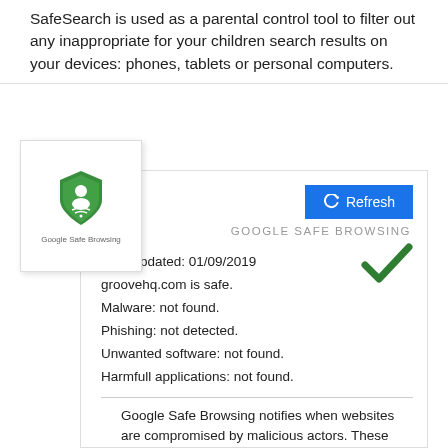SafeSearch is used as a parental control tool to filter out any inappropriate for your children search results on your devices: phones, tablets or personal computers.
[Figure (logo): Google Safe Browsing shield logo — green shield with a person icon and wifi symbol, labeled 'Google Safe Browsing']
Last Updated: 01/09/2019
groovehq.com is safe.
Malware: not found.
Phishing: not detected.
Unwanted software: not found.
Harmfull applications: not found.
Google Safe Browsing notifies when websites are compromised by malicious actors. These protections work across Google products and provide a safer online experience.